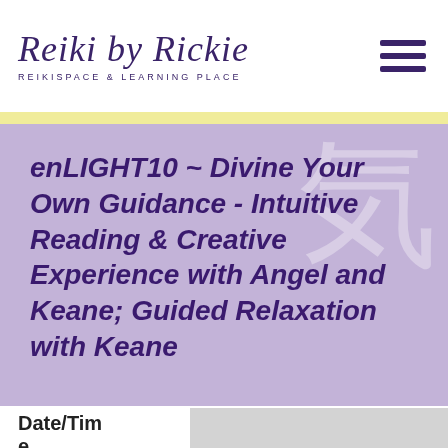Reiki by Rickie
REIKISPACE & LEARNING PLACE
enLIGHT10 ~ Divine Your Own Guidance - Intuitive Reading & Creative Experience with Angel and Keane; Guided Relaxation with Keane
Date/Time